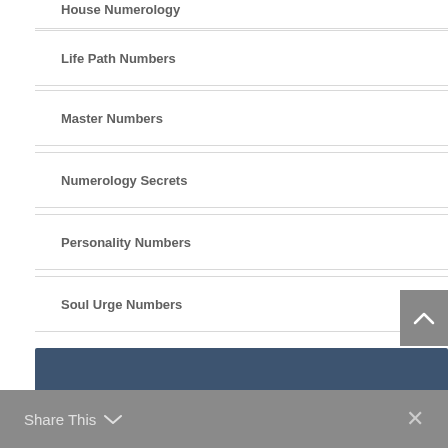House Numerology
Life Path Numbers
Master Numbers
Numerology Secrets
Personality Numbers
Soul Urge Numbers
Share This ×